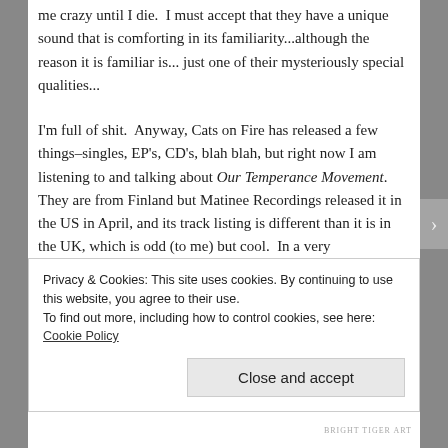me crazy until I die.  I must accept that they have a unique sound that is comforting in its familiarity...although the reason it is familiar is...just one of their mysteriously special qualities...
I'm full of shit.  Anyway, Cats on Fire has released a few things–singles, EP's, CD's, blah blah, but right now I am listening to and talking about Our Temperance Movement.  They are from Finland but Matinee Recordings released it in the US in April, and its track listing is different than it is in the UK, which is odd (to me) but cool.  In a very
Privacy & Cookies: This site uses cookies. By continuing to use this website, you agree to their use.
To find out more, including how to control cookies, see here: Cookie Policy
Close and accept